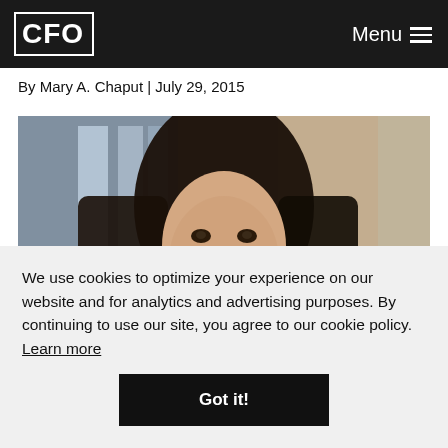CFO | Menu
By Mary A. Chaput | July 29, 2015
[Figure (photo): Headshot of Mary A. Chaput, a woman with long dark hair, photographed against a soft office background with blurred windows.]
We use cookies to optimize your experience on our website and for analytics and advertising purposes. By continuing to use our site, you agree to our cookie policy. Learn more
Got it!